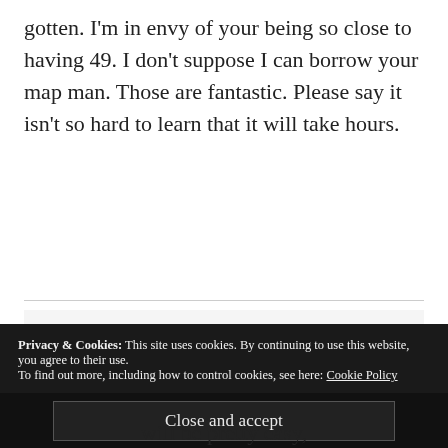gotten. I'm in envy of your being so close to having 49. I don't suppose I can borrow your map man. Those are fantastic. Please say it isn't so hard to learn that it will take hours.
Lowe's RV Travels
JANUARY 12, 2016 AT 10:49 PM
[Figure (photo): Circular avatar photo of two people wearing aviator headsets and sunglasses]
Privacy & Cookies: This site uses cookies. By continuing to use this website, you agree to their use.
To find out more, including how to control cookies, see here: Cookie Policy
Close and accept
will be pretty easy,